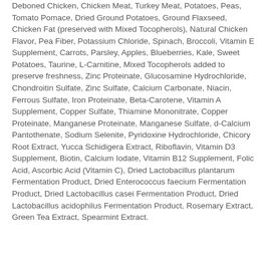Deboned Chicken, Chicken Meat, Turkey Meat, Potatoes, Peas, Tomato Pomace, Dried Ground Potatoes, Ground Flaxseed, Chicken Fat (preserved with Mixed Tocopherols), Natural Chicken Flavor, Pea Fiber, Potassium Chloride, Spinach, Broccoli, Vitamin E Supplement, Carrots, Parsley, Apples, Blueberries, Kale, Sweet Potatoes, Taurine, L-Carnitine, Mixed Tocopherols added to preserve freshness, Zinc Proteinate, Glucosamine Hydrochloride, Chondroitin Sulfate, Zinc Sulfate, Calcium Carbonate, Niacin, Ferrous Sulfate, Iron Proteinate, Beta-Carotene, Vitamin A Supplement, Copper Sulfate, Thiamine Mononitrate, Copper Proteinate, Manganese Proteinate, Manganese Sulfate, d-Calcium Pantothenate, Sodium Selenite, Pyridoxine Hydrochloride, Chicory Root Extract, Yucca Schidigera Extract, Riboflavin, Vitamin D3 Supplement, Biotin, Calcium Iodate, Vitamin B12 Supplement, Folic Acid, Ascorbic Acid (Vitamin C), Dried Lactobacillus plantarum Fermentation Product, Dried Enterococcus faecium Fermentation Product, Dried Lactobacillus casei Fermentation Product, Dried Lactobacillus acidophilus Fermentation Product, Rosemary Extract, Green Tea Extract, Spearmint Extract.